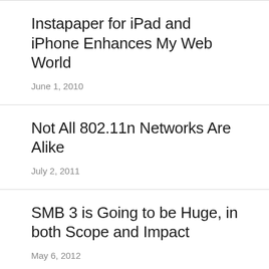Instapaper for iPad and iPhone Enhances My Web World
June 1, 2010
Not All 802.11n Networks Are Alike
July 2, 2011
SMB 3 is Going to be Huge, in both Scope and Impact
May 6, 2012